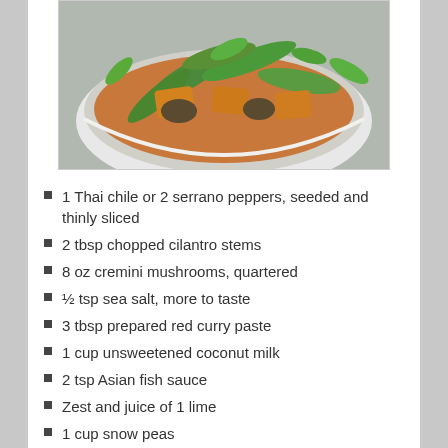[Figure (photo): Bowl of food with snow peas, mushrooms, and curry tofu garnished with green leaves]
1 Thai chile or 2 serrano peppers, seeded and thinly sliced
2 tbsp chopped cilantro stems
8 oz cremini mushrooms, quartered
½ tsp sea salt, more to taste
3 tbsp prepared red curry paste
1 cup unsweetened coconut milk
2 tsp Asian fish sauce
Zest and juice of 1 lime
1 cup snow peas
Basil and/or cilantro leaves, for garnish
Brown or white rice, for serving
Cut tofu into 1-inch slabs and place on paper towel-lined baking sheet. Cover with another layer of